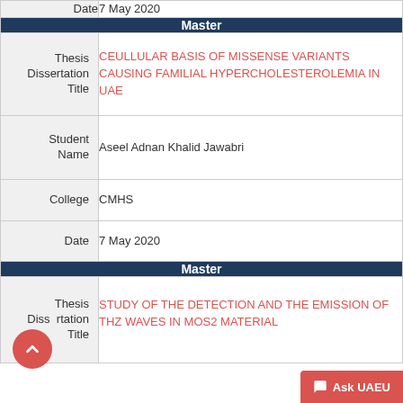| Date | 7 May 2020 |
| Master |  |
| Thesis Dissertation Title | CEULLULAR BASIS OF MISSENSE VARIANTS CAUSING FAMILIAL HYPERCHOLESTEROLEMIA IN UAE |
| Student Name | Aseel Adnan Khalid Jawabri |
| College | CMHS |
| Date | 7 May 2020 |
| Master |  |
| Thesis Dissertation Title | STUDY OF THE DETECTION AND THE EMISSION OF THZ WAVES IN MOS2 MATERIAL |